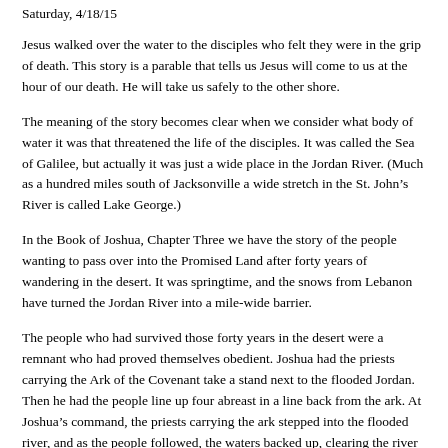Saturday, 4/18/15
Jesus walked over the water to the disciples who felt they were in the grip of death. This story is a parable that tells us Jesus will come to us at the hour of our death. He will take us safely to the other shore.
The meaning of the story becomes clear when we consider what body of water it was that threatened the life of the disciples. It was called the Sea of Galilee, but actually it was just a wide place in the Jordan River. (Much as a hundred miles south of Jacksonville a wide stretch in the St. John’s River is called Lake George.)
In the Book of Joshua, Chapter Three we have the story of the people wanting to pass over into the Promised Land after forty years of wandering in the desert. It was springtime, and the snows from Lebanon have turned the Jordan River into a mile-wide barrier.
The people who had survived those forty years in the desert were a remnant who had proved themselves obedient. Joshua had the priests carrying the Ark of the Covenant take a stand next to the flooded Jordan. Then he had the people line up four abreast in a line back from the ark. At Joshua’s command, the priests carrying the ark stepped into the flooded river, and as the people followed, the waters backed up, clearing the river bed.